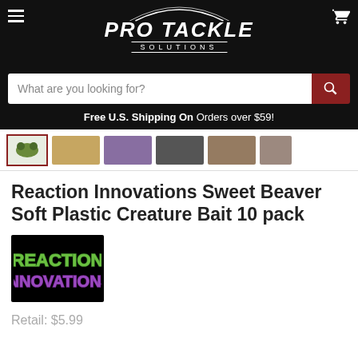PRO TACKLE SOLUTIONS
What are you looking for?
Free U.S. Shipping On Orders over $59!
Reaction Innovations Sweet Beaver Soft Plastic Creature Bait 10 pack
[Figure (logo): Reaction Innovations brand logo with stylized green and purple text on black background]
Retail: $5.99